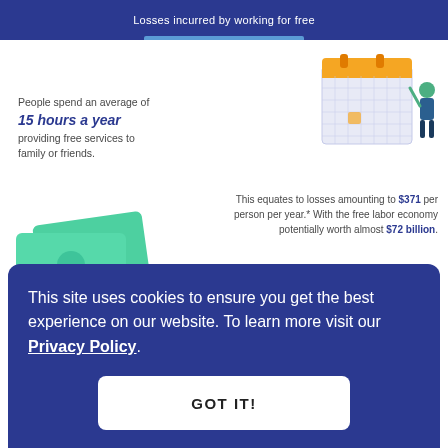Losses incurred by working for free
People spend an average of 15 hours a year providing free services to family or friends.
[Figure (illustration): Illustration of a man pointing at a large calendar/planner]
This equates to losses amounting to $371 per person per year.* With the free labor economy potentially worth almost $72 billion.
*Based on Bureau of Labor Statistics data on the average wage in the first quarter of 2021
[Figure (illustration): Illustration of green banknotes and gold coins]
More than 1 in 8 people
This site uses cookies to ensure you get the best experience on our website. To learn more visit our Privacy Policy.
GOT IT!